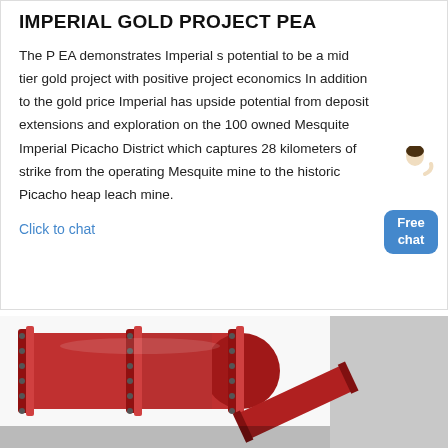IMPERIAL GOLD PROJECT PEA
The PEA demonstrates Imperial s potential to be a mid tier gold project with positive project economics In addition to the gold price Imperial has upside potential from deposit extensions and exploration on the 100 owned Mesquite Imperial Picacho District which captures 28 kilometers of strike from the operating Mesquite mine to the historic Picacho heap leach mine.
Click to chat
[Figure (photo): Industrial red metal pipe/drum machinery equipment, photographed at an angle showing cylindrical components with bolts and flanges.]